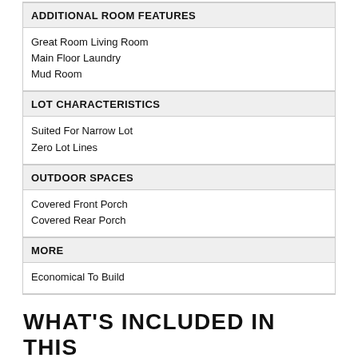ADDITIONAL ROOM FEATURES
Great Room Living Room
Main Floor Laundry
Mud Room
LOT CHARACTERISTICS
Suited For Narrow Lot
Zero Lot Lines
OUTDOOR SPACES
Covered Front Porch
Covered Rear Porch
MORE
Economical To Build
WHAT'S INCLUDED IN THIS PLAN SET